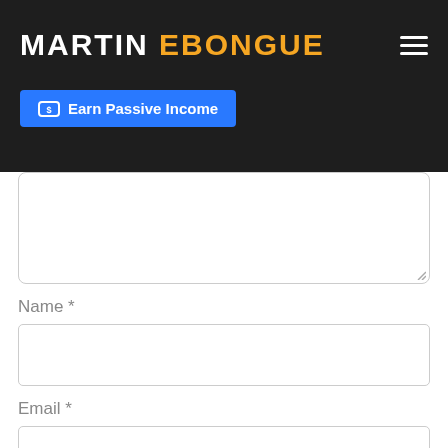MARTIN EBONGUE
Earn Passive Income
[Figure (screenshot): Comment form section with a large textarea (partially visible at top), followed by a Name field with label 'Name *' and an empty input box, and an Email field with label 'Email *' and a partially visible empty input box.]